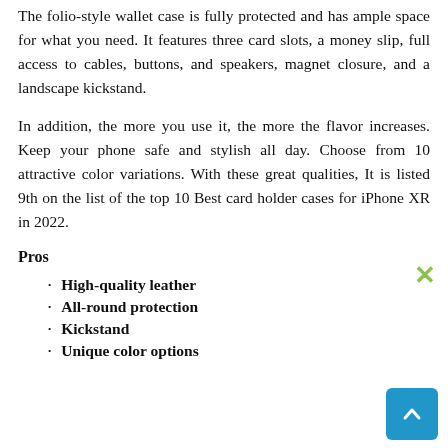The folio-style wallet case is fully protected and has ample space for what you need. It features three card slots, a money slip, full access to cables, buttons, and speakers, magnet closure, and a landscape kickstand.
In addition, the more you use it, the more the flavor increases. Keep your phone safe and stylish all day. Choose from 10 attractive color variations. With these great qualities, It is listed 9th on the list of the top 10 Best card holder cases for iPhone XR in 2022.
Pros
High-quality leather
All-round protection
Kickstand
Unique color options